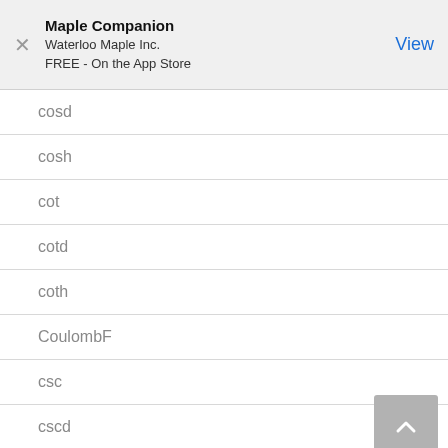Maple Companion
Waterloo Maple Inc.
FREE - On the App Store
cosd
cosh
cot
cotd
coth
CoulombF
csc
cscd
csch